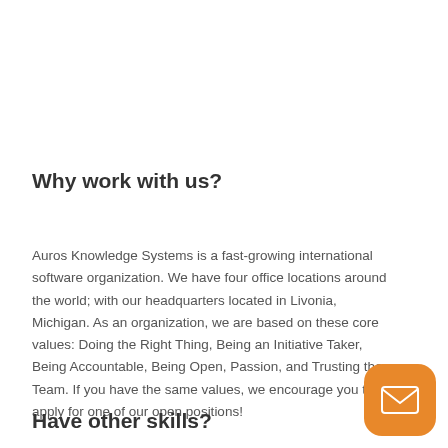Why work with us?
Auros Knowledge Systems is a fast-growing international software organization. We have four office locations around the world; with our headquarters located in Livonia, Michigan. As an organization, we are based on these core values: Doing the Right Thing, Being an Initiative Taker, Being Accountable, Being Open, Passion, and Trusting the Team. If you have the same values, we encourage you to apply for one of our open positions!
Have other skills?
[Figure (illustration): Orange rounded square button with a white envelope/email icon]